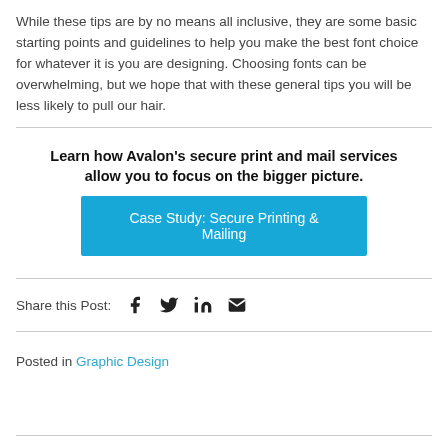While these tips are by no means all inclusive, they are some basic starting points and guidelines to help you make the best font choice for whatever it is you are designing. Choosing fonts can be overwhelming, but we hope that with these general tips you will be less likely to pull our hair.
Learn how Avalon's secure print and mail services allow you to focus on the bigger picture.
Case Study: Secure Printing & Mailing
Share this Post:
Posted in Graphic Design